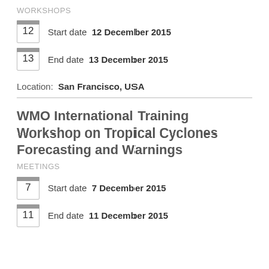WORKSHOPS
Start date  12 December 2015
End date  13 December 2015
Location:  San Francisco, USA
WMO International Training Workshop on Tropical Cyclones Forecasting and Warnings
MEETINGS
Start date  7 December 2015
End date  11 December 2015